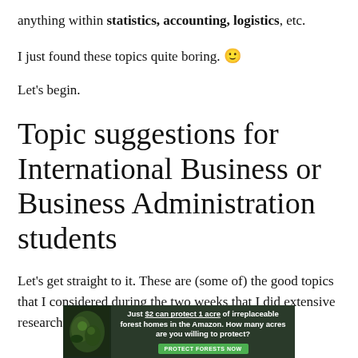anything within statistics, accounting, logistics, etc.
I just found these topics quite boring. 🙂
Let's begin.
Topic suggestions for International Business or Business Administration students
Let's get straight to it. These are (some of) the good topics that I considered during the two weeks that I did extensive research every day.
[Figure (photo): Advertisement banner: 'Just $2 can protect 1 acre of irreplaceable forest homes in the Amazon. How many acres are you willing to protect?' with a green PROTECT FORESTS NOW button]